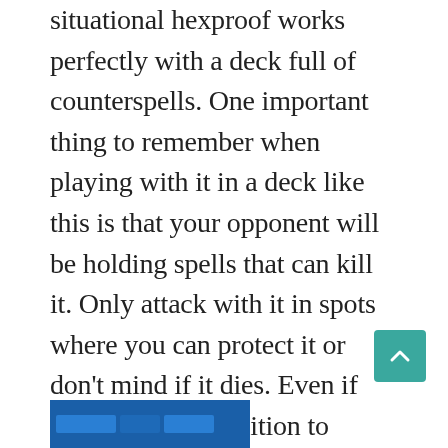situational hexproof works perfectly with a deck full of counterspells. One important thing to remember when playing with it in a deck like this is that your opponent will be holding spells that can kill it. Only attack with it in spots where you can protect it or don't mind if it dies. Even if you aren't in a position to attack with Ojutai, it gives you an excellent blocker and forces your opponent to leave mana untapped each turn if they want to be able to kill it.
[Figure (screenshot): Partial screenshot of a card or interface element at the bottom of the page, showing a dark blue/teal bar]